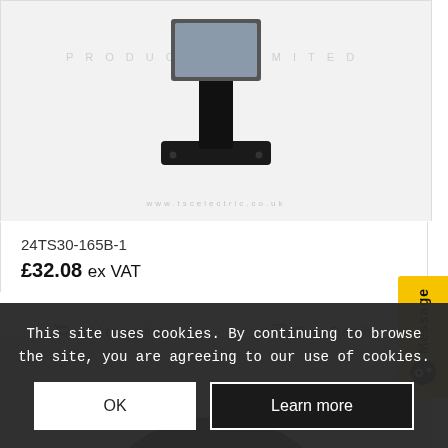[Figure (photo): Product photo of a monitor stand or mount in black, shown against light background with partial company watermark/logo text visible]
24TS30-165B-1
£32.08 ex VAT
Add to basket
Show Details
[Figure (photo): Second product photo partially visible, showing a dark/black dome or oval shaped product]
This site uses cookies. By continuing to browse the site, you are agreeing to our use of cookies.
OK
Learn more